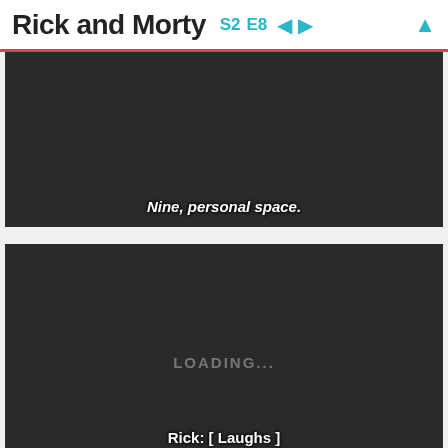Rick and Morty S2 E8 ← → ↑
[Figure (screenshot): Dark video frame from Rick and Morty S2E8 with subtitle text: Nine, personal space.]
[Figure (screenshot): Dark video frame from Rick and Morty S2E8 with LOADING... overlay and subtitle text: Rick: [ Laughs ] What an asshole!]
[Figure (screenshot): Partial dark video frame from Rick and Morty S2E8, content cut off at bottom of page.]